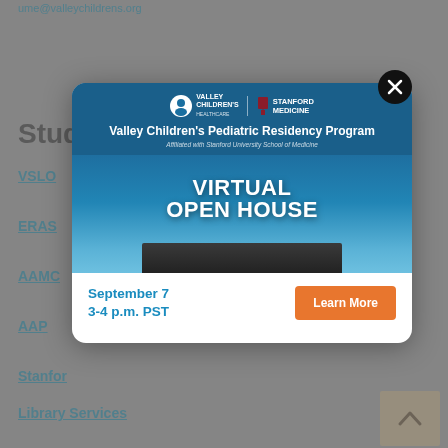ume@valleychildrens.org
Stud
VSLO
ERAS
AAMC
AAP
Stanfor
Library Services
[Figure (screenshot): Modal popup ad for Valley Children's Pediatric Residency Program Virtual Open House. Contains Valley Children's Healthcare and Stanford Medicine logos at top, program title, a laptop with 'VIRTUAL OPEN HOUSE' text displayed on screen, date September 7 3-4 p.m. PST, and a Learn More button.]